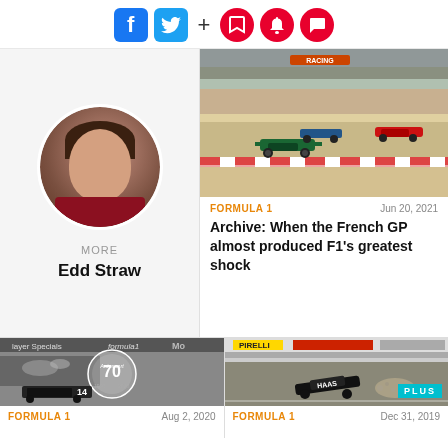[Figure (screenshot): Social media share bar with Facebook, Twitter, plus sign, and three red circular icons (bookmark, bell, chat)]
[Figure (photo): Circular author headshot of Edd Straw, a man in a dark red shirt]
MORE
Edd Straw
[Figure (photo): Formula 1 racing cars on track at the French GP, colorful cars racing]
FORMULA 1
Jun 20, 2021
Archive: When the French GP almost produced F1's greatest shock
[Figure (photo): Black and white vintage Formula 1 race scene with Autosport 70 years logo overlay, car number 14]
FORMULA 1
Aug 2, 2020
[Figure (photo): Formula 1 Haas car crashing at the barrier, with PLUS badge]
FORMULA 1
Dec 31, 2019